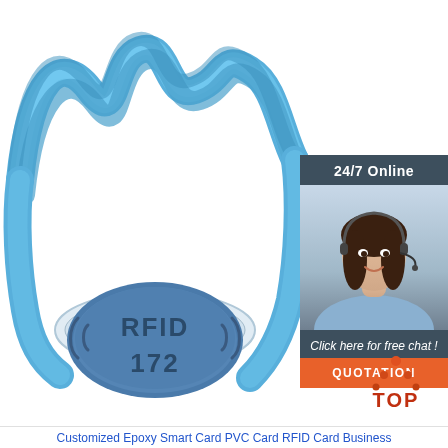[Figure (photo): Blue RFID silicone wristband with transparent oval buckle and blue epoxy RFID chip labeled '((RFID))' and '172', displayed on white background.]
[Figure (photo): Customer service representative woman with headset smiling, inside a dark teal panel with '24/7 Online' header, 'Click here for free chat!' text, and an orange 'QUOTATION' button.]
[Figure (logo): TOP logo with orange/red dot triangle above bold red 'TOP' text.]
Customized Epoxy Smart Card PVC Card RFID Card Business